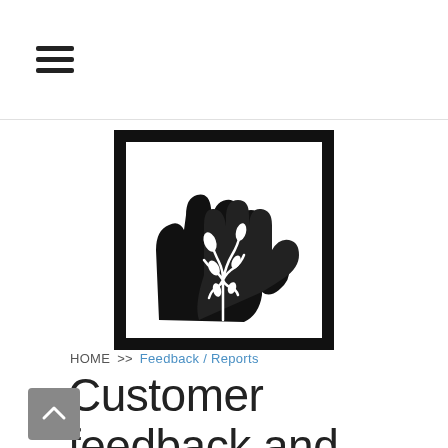≡ (hamburger menu)
[Figure (logo): NordicByNature logo: a black square frame containing two hands forming a tree/plant shape with leaves, rendered in black and white silhouette style]
NordicByNature
HOME >> Feedback / Reports
Customer feedback and